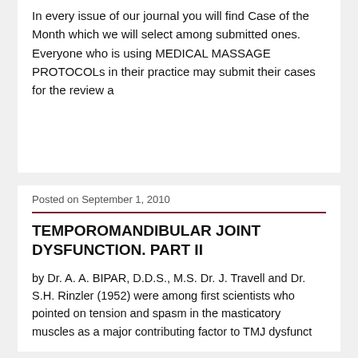In every issue of our journal you will find Case of the Month which we will select among submitted ones. Everyone who is using MEDICAL MASSAGE PROTOCOLs in their practice may submit their cases for the review a
Posted on September 1, 2010
TEMPOROMANDIBULAR JOINT DYSFUNCTION. PART II
by Dr. A. A. BIPAR, D.D.S., M.S. Dr. J. Travell and Dr. S.H. Rinzler (1952) were among first scientists who pointed on tension and spasm in the masticatory muscles as a major contributing factor to TMJ dysfunct